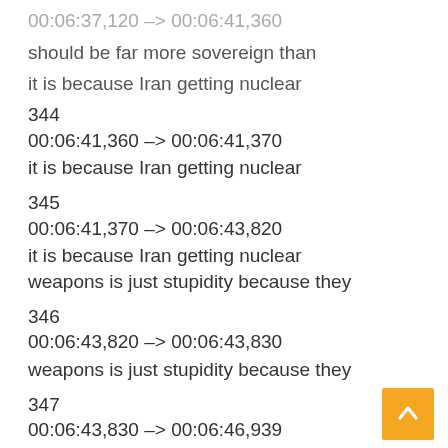00:06:37,120 –> 00:06:41,360
should be far more sovereign than
it is because Iran getting nuclear
344
00:06:41,360 –> 00:06:41,370
it is because Iran getting nuclear
345
00:06:41,370 –> 00:06:43,820
it is because Iran getting nuclear
weapons is just stupidity because they
346
00:06:43,820 –> 00:06:43,830
weapons is just stupidity because they
347
00:06:43,830 –> 00:06:46,939
weapons is just stupidity because they